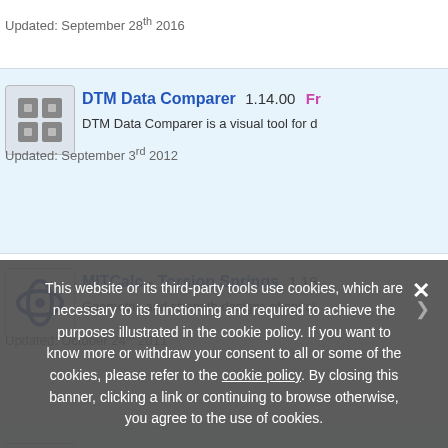Updated: September 28th 2016
DTM Data Comparer  1.14.00  Fre...
DTM Data Comparer is a visual tool for d...
Updated: September 3rd 2012
MITCalc - Torsion Springs  1.18...
Geometric and strength designs of spiral...
Updated: October 24th 2011
Asp.Net OsCommerce Pro Editio...
Open source Asp.net shopping cart solut...
Updated: December 4th 2006
This website or its third-party tools use cookies, which are necessary to its functioning and required to achieve the purposes illustrated in the cookie policy. If you want to know more or withdraw your consent to all or some of the cookies, please refer to the cookie policy. By closing this banner, clicking a link or continuing to browse otherwise, you agree to the use of cookies.